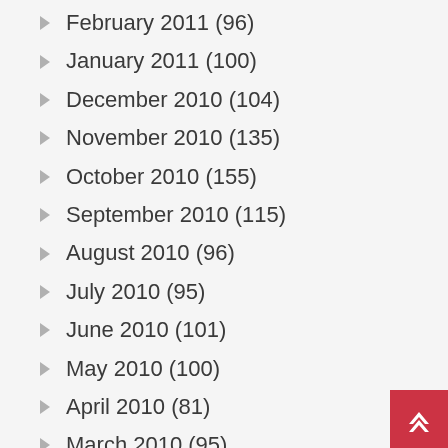February 2011 (96)
January 2011 (100)
December 2010 (104)
November 2010 (135)
October 2010 (155)
September 2010 (115)
August 2010 (96)
July 2010 (95)
June 2010 (101)
May 2010 (100)
April 2010 (81)
March 2010 (95)
February 2010 (122)